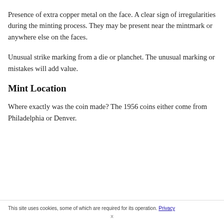Presence of extra copper metal on the face. A clear sign of irregularities during the minting process. They may be present near the mintmark or anywhere else on the faces.
Unusual strike marking from a die or planchet. The unusual marking or mistakes will add value.
Mint Location
Where exactly was the coin made? The 1956 coins either come from Philadelphia or Denver.
This site uses cookies, some of which are required for its operation. Privacy